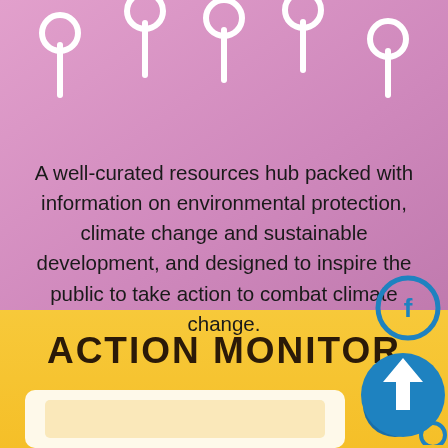[Figure (illustration): White equalizer/filter knob icons on pink background — five circular dial symbols with vertical stems arranged horizontally]
A well-curated resources hub packed with information on environmental protection, climate change and sustainable development, and designed to inspire the public to take action to combat climate change.
ACTION MONITOR
[Figure (illustration): Partial view of a computer monitor icon (white outline on yellow background) and social media sharing icons (Facebook circle and upload/share arrow circle in blue) in lower right corner]